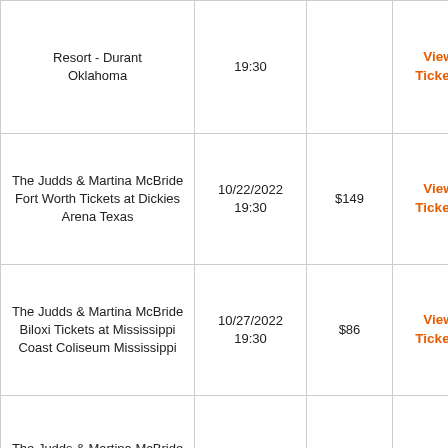| Event | Date/Time | Price | Link |
| --- | --- | --- | --- |
| [Choctaw Casino &] Resort - Durant Oklahoma | 19:30 | $[?] | View Tickets |
| The Judds & Martina McBride Fort Worth Tickets at Dickies Arena Texas | 10/22/2022 19:30 | $149 | View Tickets |
| The Judds & Martina McBride Biloxi Tickets at Mississippi Coast Coliseum Mississippi | 10/27/2022 19:30 | $86 | View Tickets |
| The Judds & Martina McBride Nashville Tickets at Bridgestone Arena Tennessee | 10/28/2022 19:30 | $46 | View Tickets |
| The Judds & Faith Hill Lexington Tickets at | 10/29/2022 | $41 | View |